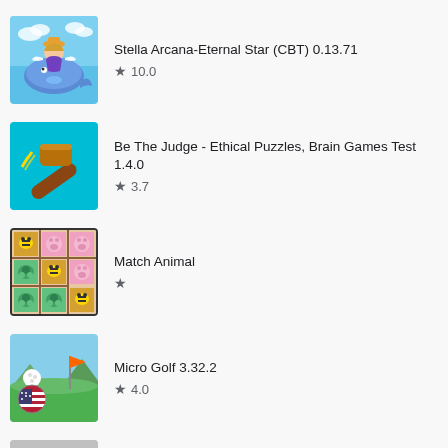Stella Arcana-Eternal Star (CBT) 0.13.71 ★ 10.0
Be The Judge - Ethical Puzzles, Brain Games Test 1.4.0 ★ 3.7
Match Animal ★
Micro Golf 3.32.2 ★ 4.0
The Horus Heresy: Legions – TCG card battle game 1.8.6